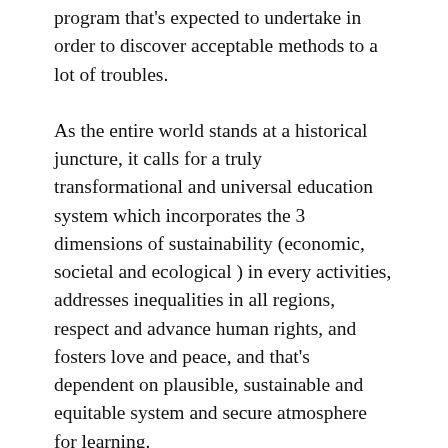program that's expected to undertake in order to discover acceptable methods to a lot of troubles.
As the entire world stands at a historical juncture, it calls for a truly transformational and universal education system which incorporates the 3 dimensions of sustainability (economic, societal and ecological ) in every activities, addresses inequalities in all regions, respect and advance human rights, and fosters love and peace, and that's dependent on plausible, sustainable and equitable system and secure atmosphere for learning.
You will find, naturally, many diverse ways globalized education can be beneficial and